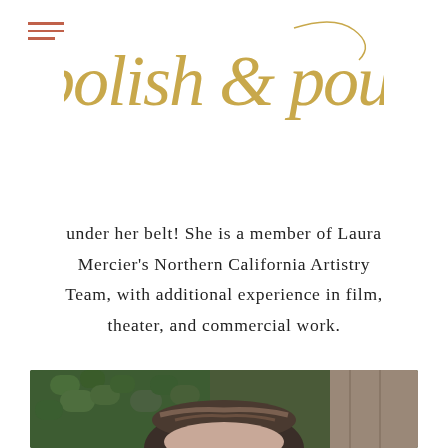[Figure (logo): Polish & Pout script logo in gold/tan cursive lettering]
under her belt! She is a member of Laura Mercier's Northern California Artistry Team, with additional experience in film, theater, and commercial work.
[Figure (photo): Photo of a woman with dark hair and bangs, shot outdoors with green leafy wall and wooden fence in background]